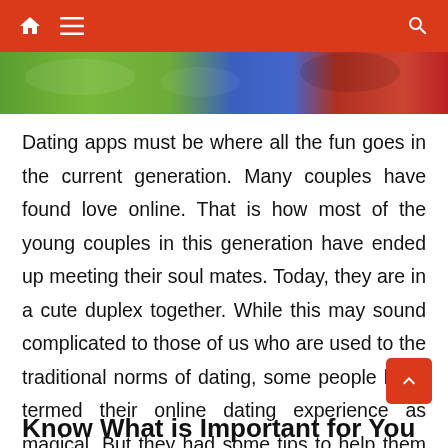Navigation bar with home, menu, and search icons
[Figure (photo): Partial photo strip showing outdoor scene with green foliage, blue and red elements]
Dating apps must be where all the fun goes in the current generation. Many couples have found love online. That is how most of the young couples in this generation have ended up meeting their soul mates. Today, they are in a cute duplex together. While this may sound complicated to those of us who are used to the traditional norms of dating, some people have termed their online dating experience as magical. But they had some tips to help them find that right person. Here are some of the suggestions.
Know What is Important for You